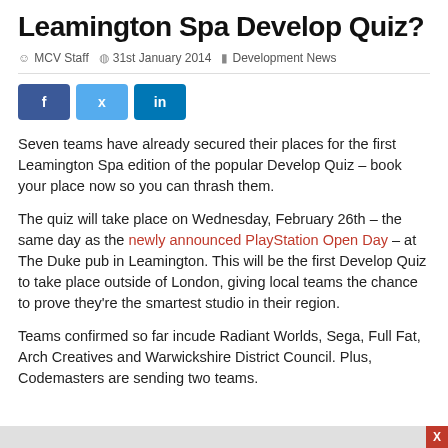Leamington Spa Develop Quiz?
MCV Staff  31st January 2014  Development News
[Figure (other): Social sharing buttons: Facebook, Twitter, LinkedIn]
Seven teams have already secured their places for the first Leamington Spa edition of the popular Develop Quiz – book your place now so you can thrash them.
The quiz will take place on Wednesday, February 26th – the same day as the newly announced PlayStation Open Day – at The Duke pub in Leamington. This will be the first Develop Quiz to take place outside of London, giving local teams the chance to prove they're the smartest studio in their region.
Teams confirmed so far incude Radiant Worlds, Sega, Full Fat, Arch Creatives and Warwickshire District Council. Plus, Codemasters are sending two teams.